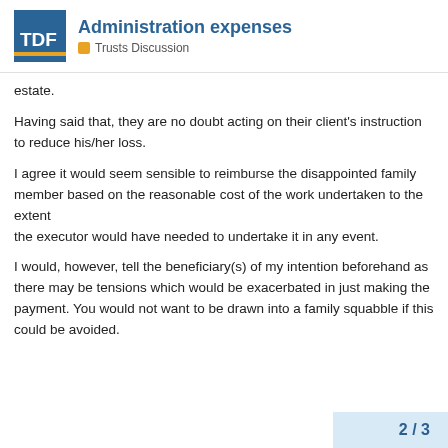Administration expenses
Trusts Discussion
estate.
Having said that, they are no doubt acting on their client's instruction
to reduce his/her loss.
I agree it would seem sensible to reimburse the disappointed family
member based on the reasonable cost of the work undertaken to the extent
the executor would have needed to undertake it in any event.
I would, however, tell the beneficiary(s) of my intention beforehand as
there may be tensions which would be exacerbated in just making the
payment. You would not want to be drawn into a family squabble if this
could be avoided.
2 / 3